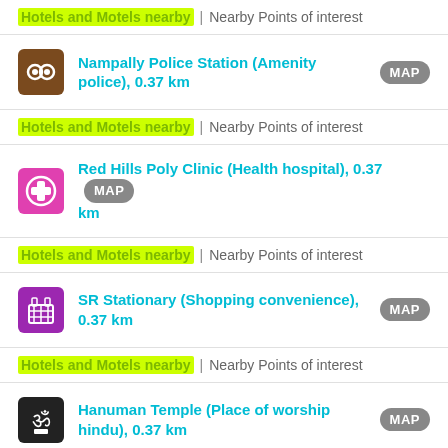Hotels and Motels nearby | Nearby Points of interest
Nampally Police Station (Amenity police), 0.37 km
Hotels and Motels nearby | Nearby Points of interest
Red Hills Poly Clinic (Health hospital), 0.37 km
Hotels and Motels nearby | Nearby Points of interest
SR Stationary (Shopping convenience), 0.37 km
Hotels and Motels nearby | Nearby Points of interest
Hanuman Temple (Place of worship hindu), 0.37 km